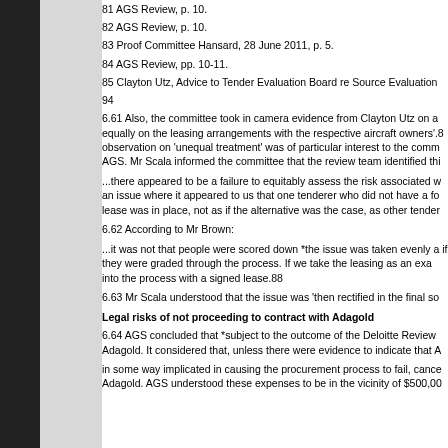81 AGS Review, p. 10.
82 AGS Review, p. 10.
83 Proof Committee Hansard, 28 June 2011, p. 5.
84 AGS Review, pp. 10-11.
85 Clayton Utz, Advice to Tender Evaluation Board re Source Evaluation
94
6.61 Also, the committee took in camera evidence from Clayton Utz on a equally on the leasing arrangements with the respective aircraft owners'.8 observation on 'unequal treatment' was of particular interest to the comm AGS. Mr Scala informed the committee that the review team identified thi
...there appeared to be a failure to equitably assess the risk associated w an issue where it appeared to us that one tenderer who did not have a fo lease was in place, not as if the alternative was the case, as other tender
6.62 According to Mr Brown:
...it was not that people were scored down *the issue was taken evenly a if they were graded through the process. If we take the leasing as an exa into the process with a signed lease.88
6.63 Mr Scala understood that the issue was 'then rectified in the final so
Legal risks of not proceeding to contract with Adagold
6.64 AGS concluded that *subject to the outcome of the Deloitte Review Adagold. It considered that, unless there were evidence to indicate that A
in some way implicated in causing the procurement process to fail, cance Adagold. AGS understood these expenses to be in the vicinity of $500,00